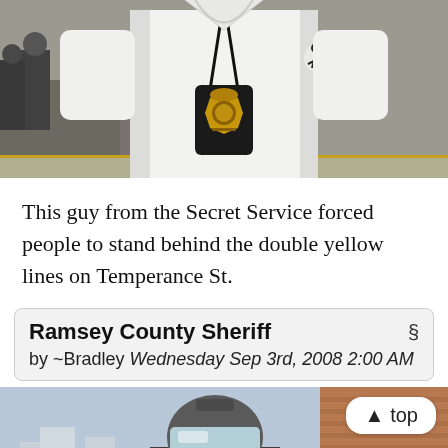[Figure (photo): A person in a white polo shirt wearing a Secret Service badge on a lanyard around their neck. Background shows an outdoor area with yellow lines on the ground.]
This guy from the Secret Service forced people to stand behind the double yellow lines on Temperance St.
Ramsey County Sheriff § by ~Bradley Wednesday Sep 3rd, 2008 2:00 AM
[Figure (photo): A person wearing riot gear including a helmet with face shield and sunglasses, standing in front of a brick building with a sign reading 'FIRE DEPT ACCESS'. City buildings visible in background.]